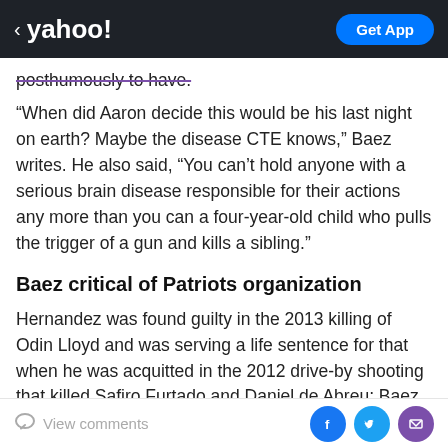< yahoo!   Get App
posthumously to have.
“When did Aaron decide this would be his last night on earth? Maybe the disease CTE knows,” Baez writes. He also said, “You can’t hold anyone with a serious brain disease responsible for their actions any more than you can a four-year-old child who pulls the trigger of a gun and kills a sibling.”
Baez critical of Patriots organization
Hernandez was found guilty in the 2013 killing of Odin Lloyd and was serving a life sentence for that when he was acquitted in the 2012 drive-by shooting that killed Safiro Furtado and Daniel de Abreu; Baez was
View comments